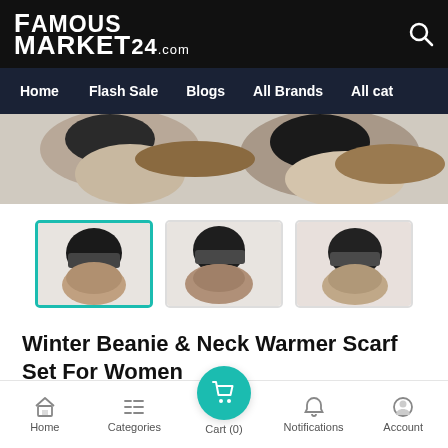FamousMarket24.com
[Figure (screenshot): Navigation bar with links: Home, Flash Sale, Blogs, All Brands, All cat]
[Figure (photo): Woman wearing black winter beanie and neck warmer scarf, main product photo]
[Figure (photo): Three product thumbnail images of winter beanie and neck warmer scarf sets, first one selected with teal border]
Winter Beanie & Neck Warmer Scarf Set For Women
★★★★★ (0 reviews)
Home  Categories  Cart (0)  Notifications  Account